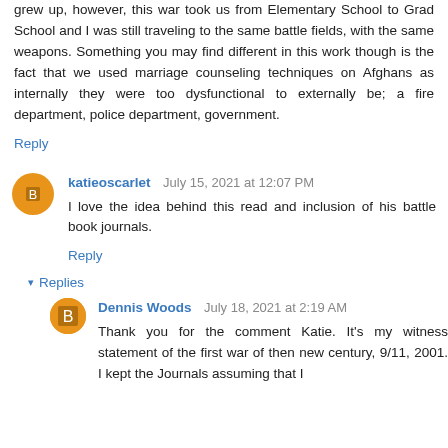grew up, however, this war took us from Elementary School to Grad School and I was still traveling to the same battle fields, with the same weapons. Something you may find different in this work though is the fact that we used marriage counseling techniques on Afghans as internally they were too dysfunctional to externally be; a fire department, police department, government.
Reply
katieoscarlet  July 15, 2021 at 12:07 PM
I love the idea behind this read and inclusion of his battle book journals.
Reply
▾ Replies
Dennis Woods  July 18, 2021 at 2:19 AM
Thank you for the comment Katie. It's my witness statement of the first war of then new century, 9/11, 2001. I kept the Journals assuming that I would share it before one there. The...